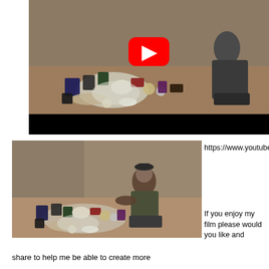[Figure (screenshot): YouTube video thumbnail showing a bearded man sitting on a floor surrounded by a large collection of antiques, silver items, coins, and collectibles spread out on a carpet. A large red YouTube play button is overlaid in the center. Below the image is a black bar (video player bottom bar).]
[Figure (photo): Photo of a bearded man with glasses sitting on a hotel/room floor surrounded by spread out antiques, silver items, coins, jewelry boxes, and collectibles. The man is gesturing toward the camera.]
https://www.youtube.com/user/Antiquesarena
If you enjoy my film please would you like and
share to help me be able to create more